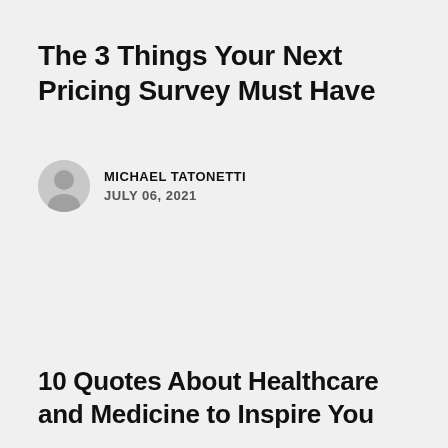The 3 Things Your Next Pricing Survey Must Have
MICHAEL TATONETTI
JULY 06, 2021
10 Quotes About Healthcare and Medicine to Inspire You